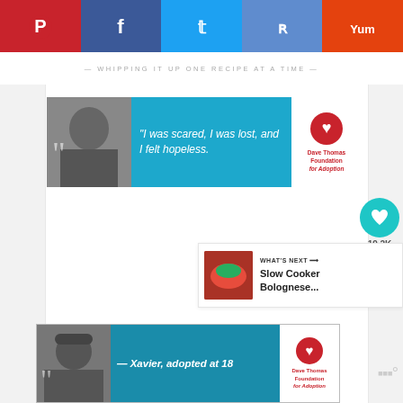[Figure (screenshot): Social sharing bar with Pinterest (red), Facebook (dark blue), Twitter (light blue), Reddit (blue), Yummly (orange) buttons]
WHIPPING IT UP ONE RECIPE AT A TIME
[Figure (screenshot): Advertisement banner: Dave Thomas Foundation for Adoption - 'I was scared, I was lost, and I felt hopeless.']
19.2K
[Figure (screenshot): What's Next panel with food thumbnail: Slow Cooker Bolognese...]
[Figure (screenshot): Advertisement banner: Dave Thomas Foundation for Adoption - Xavier, adopted at 18]